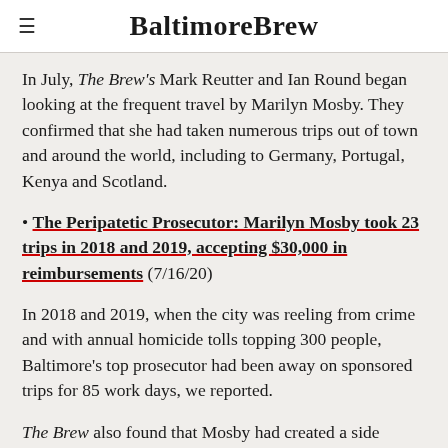BaltimoreBrew
In July, The Brew's Mark Reutter and Ian Round began looking at the frequent travel by Marilyn Mosby. They confirmed that she had taken numerous trips out of town and around the world, including to Germany, Portugal, Kenya and Scotland.
• The Peripatetic Prosecutor: Marilyn Mosby took 23 trips in 2018 and 2019, accepting $30,000 in reimbursements (7/16/20)
In 2018 and 2019, when the city was reeling from crime and with annual homicide tolls topping 300 people, Baltimore's top prosecutor had been away on sponsored trips for 85 work days, we reported.
The Brew also found that Mosby had created a side business – Mahogany Elite Enterprises LLC, plus two subsidiaries, Mahogany Elite Consulting and